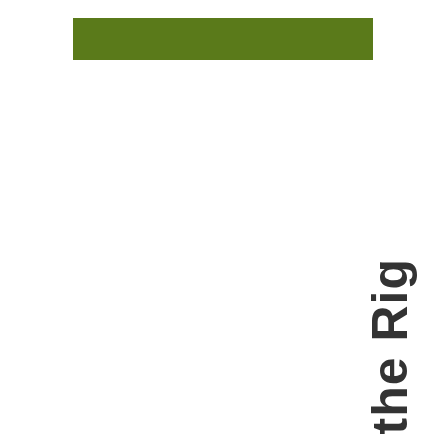[Figure (other): Olive/dark green horizontal bar at the top left of the page]
Finding the Rig